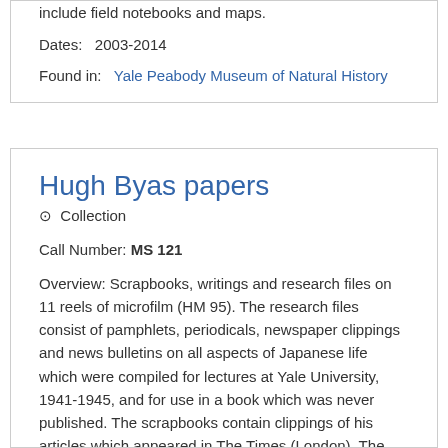include field notebooks and maps.
Dates:   2003-2014
Found in:   Yale Peabody Museum of Natural History
Hugh Byas papers
⊙  Collection
Call Number: MS 121
Overview: Scrapbooks, writings and research files on 11 reels of microfilm (HM 95). The research files consist of pamphlets, periodicals, newspaper clippings and news bulletins on all aspects of Japanese life which were compiled for lectures at Yale University, 1941-1945, and for use in a book which was never published. The scrapbooks contain clippings of his articles which appeared in The Times (London), The New York Times and ...